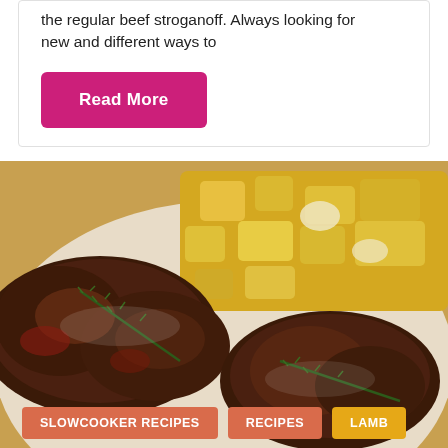the regular beef stroganoff. Always looking for new and different ways to
Read More
[Figure (photo): Close-up photo of slow-cooked lamb pieces in a bowl with roasted potatoes and rosemary garnish]
SLOWCOOKER RECIPES   RECIPES   LAMB